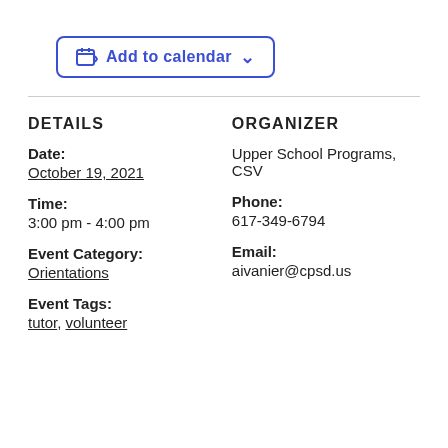[Figure (other): Add to calendar button with calendar icon and dropdown chevron]
DETAILS
Date:
October 19, 2021
Time:
3:00 pm - 4:00 pm
Event Category:
Orientations
Event Tags:
tutor, volunteer
ORGANIZER
Upper School Programs, CSV
Phone:
617-349-6794
Email:
aivanier@cpsd.us